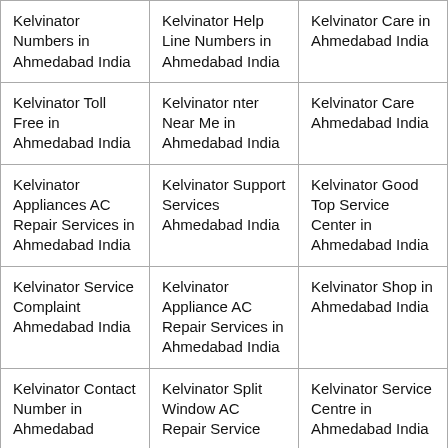| Kelvinator Numbers in Ahmedabad India | Kelvinator Help Line Numbers in Ahmedabad India | Kelvinator Care in Ahmedabad India |
| Kelvinator Toll Free in Ahmedabad India | Kelvinator nter Near Me in Ahmedabad India | Kelvinator Care Ahmedabad India |
| Kelvinator Appliances AC Repair Services in Ahmedabad India | Kelvinator Support Services Ahmedabad India | Kelvinator Good Top Service Center in Ahmedabad India |
| Kelvinator Service Complaint Ahmedabad India | Kelvinator Appliance AC Repair Services in Ahmedabad India | Kelvinator Shop in Ahmedabad India |
| Kelvinator Contact Number in Ahmedabad | Kelvinator Split Window AC Repair Service | Kelvinator Service Centre in Ahmedabad India |